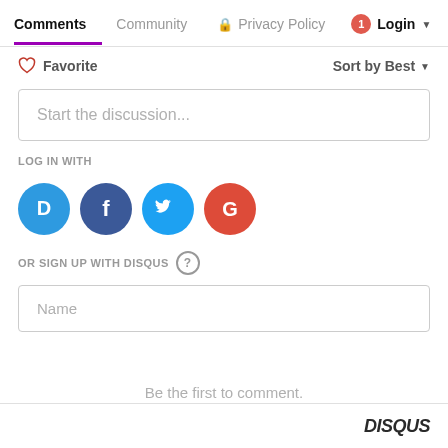Comments  Community  Privacy Policy  Login
Favorite  Sort by Best
Start the discussion...
LOG IN WITH
[Figure (infographic): Four social login icons in circles: Disqus (blue), Facebook (dark blue), Twitter (light blue), Google (red)]
OR SIGN UP WITH DISQUS ?
Name
Be the first to comment.
DISQUS